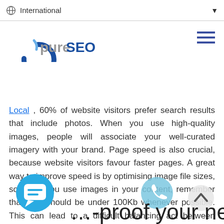International
[Figure (logo): PureSEO logo with stylized globe icon and text 'PureSEO' in blue]
Local , 60% of website visitors prefer search results that include photos. When you use high-quality images, people will associate your well-curated imagery with your brand. Page speed is also crucial, because website visitors favour faster pages. A great way to improve speed is by optimising image file sizes, so when you use images in your content, remember that they should be under 100Kb whenever possible. This can lead to a difficult balancing act between higher-quality images and smaller file sizes, but it's one that pays to get right. Try using compression to lower file sizes without compromising on quality.
…-proof your new website